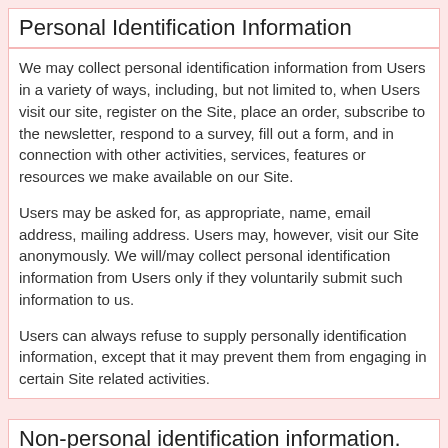Personal Identification Information
We may collect personal identification information from Users in a variety of ways, including, but not limited to, when Users visit our site, register on the Site, place an order, subscribe to the newsletter, respond to a survey, fill out a form, and in connection with other activities, services, features or resources we make available on our Site.
Users may be asked for, as appropriate, name, email address, mailing address. Users may, however, visit our Site anonymously. We will/may collect personal identification information from Users only if they voluntarily submit such information to us.
Users can always refuse to supply personally identification information, except that it may prevent them from engaging in certain Site related activities.
Non-personal identification information.
We may collect non-personal identification information about Users whenever they interact with our Site. Non-personal